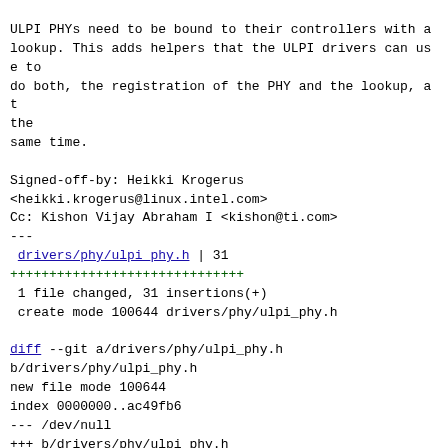ULPI PHYs need to be bound to their controllers with a lookup. This adds helpers that the ULPI drivers can use to
do both, the registration of the PHY and the lookup, at the
same time.

Signed-off-by: Heikki Krogerus
<heikki.krogerus@linux.intel.com>
Cc: Kishon Vijay Abraham I <kishon@ti.com>
---
 drivers/phy/ulpi_phy.h | 31
++++++++++++++++++++++++++++++
 1 file changed, 31 insertions(+)
 create mode 100644 drivers/phy/ulpi_phy.h

diff --git a/drivers/phy/ulpi_phy.h b/drivers/phy/ulpi_phy.h
new file mode 100644
index 0000000..ac49fb6
--- /dev/null
+++ b/drivers/phy/ulpi_phy.h
@@ -0,0 +1,31 @@
+#include <linux/phy/phy.h>
+
+/**
+ * Helper that registers PHY for a ULPI device and adds a lookup for binding it
+ * and it's controller, which is always the parent.
+ */
+static inline struct phy